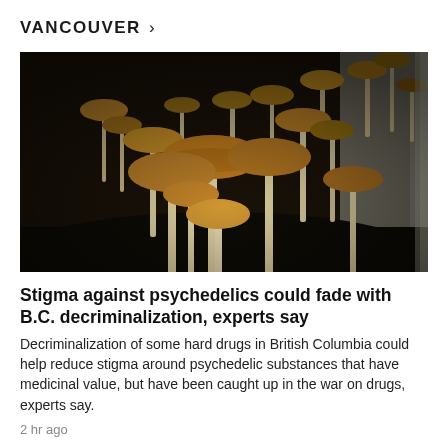VANCOUVER >
[Figure (photo): A cluster of psilocybin mushrooms with tan caps and pale stems growing in a dark substrate inside a plastic bag or container.]
Stigma against psychedelics could fade with B.C. decriminalization, experts say
Decriminalization of some hard drugs in British Columbia could help reduce stigma around psychedelic substances that have medicinal value, but have been caught up in the war on drugs, experts say.
2 hr ago